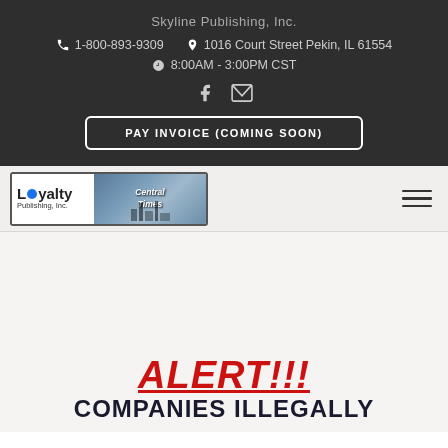Skyline Publishing, Inc.
1-800-893-9309   1016 Court Street Pekin, IL 61554
8:00AM - 3:00PM CST
PAY INVOICE (COMING SOON)
[Figure (logo): Loyalty Publishing, Inc. logo with photo of industrial scene and text 'Central Times']
ALERT!!!
COMPANIES ILLEGALLY